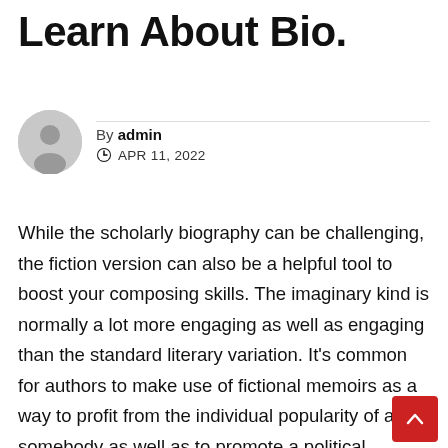Learn About Bio.
By admin
APR 11, 2022
While the scholarly biography can be challenging, the fiction version can also be a helpful tool to boost your composing skills. The imaginary kind is normally a lot more engaging as well as engaging than the standard literary variation. It's common for authors to make use of fictional memoirs as a way to profit from the individual popularity of a somebody as well as to promote a political ideology. In fact, fictional autobiographies are one of the most preferred